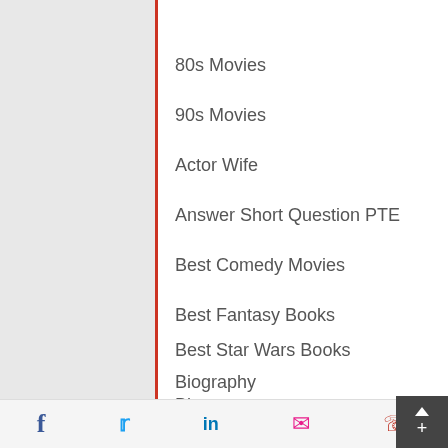80s Movies
90s Movies
Actor Wife
Answer Short Question PTE
Best Comedy Movies
Best Fantasy Books
Best Star Wars Books
Biography
Blog
Bollywood
f  twitter  in  mail  whatsapp  +